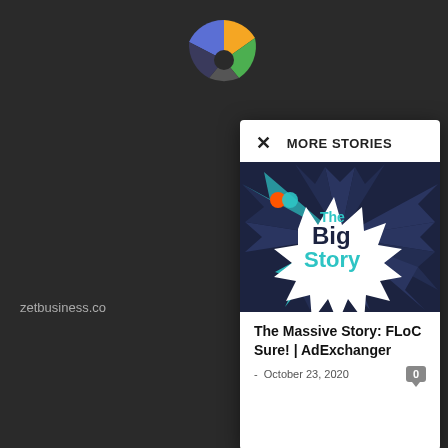[Figure (logo): Colorful pie-chart-like logo with blue, yellow, green, gray segments at top center]
zetbusiness.co
MORE STORIES
[Figure (illustration): The Big Story graphic with dark navy starburst/explosion shape and white center showing 'The Big Story' text in blue and dark navy, with AdExchanger logo in top left]
The Massive Story: FLoC Sure! | AdExchanger
- October 23, 2020
0